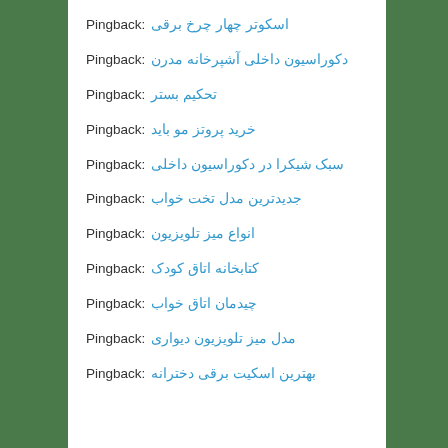Pingback: اسکوتر چهار چرخ برقی
Pingback: دکوراسیون داخلی آشپرخانه مدرن
Pingback: تحکیم بستر
Pingback: خرید پروتز مو باید
Pingback: سبک شیکرا در دکوراسیون داخلی
Pingback: جدیدترین مدل تخت خواب
Pingback: انواع میز تلویزیون
Pingback: کتابخانه اتاق کودک
Pingback: چیدمان اتاق خواب
Pingback: مدل میز تلویزیون دیواری
Pingback: بهترین اسکیت برقی دخترانه